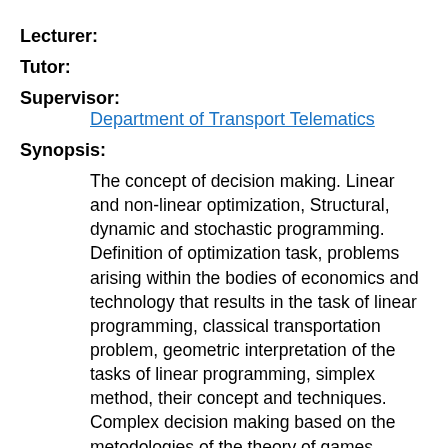Lecturer:
Tutor:
Supervisor:
    Department of Transport Telematics
Synopsis:
The concept of decision making. Linear and non-linear optimization, Structural, dynamic and stochastic programming. Definition of optimization task, problems arising within the bodies of economics and technology that results in the task of linear programming, classical transportation problem, geometric interpretation of the tasks of linear programming, simplex method, their concept and techniques. Complex decision making based on the metodologies of the theory of games, decision making in the situation of uncertainty and risk, basic methods of the multicriteral decision making.
Requirements:
Knowledge of algebra, theory of graphs and system analysis, fundamentals of mathematical analysis,